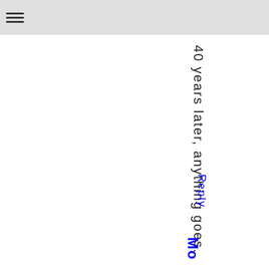40 years later, anything goes.
Reply
Mo